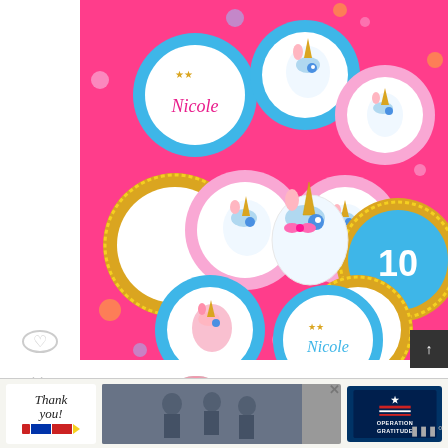[Figure (photo): Bright pink background with decorative unicorn party circles — round cutouts featuring cartoon unicorn illustrations, gold glitter rings, name tags reading 'Nicole', and number '10' labels in blue and gold. Scatter of colorful confetti dots. Used as birthday party decoration display.]
[Figure (photo): Small thumbnail of DIY No-Sew Pink & Fluff... article preview showing a bouquet of pink fluffy items.]
WHAT'S NEXT → DIY No-Sew Pink & Fluff...
[Figure (photo): Advertisement banner for Operation Gratitude showing 'Thank you!' text with a pencil graphic on left, a photograph of military personnel in center, and Operation Gratitude logo on right with an X close button.]